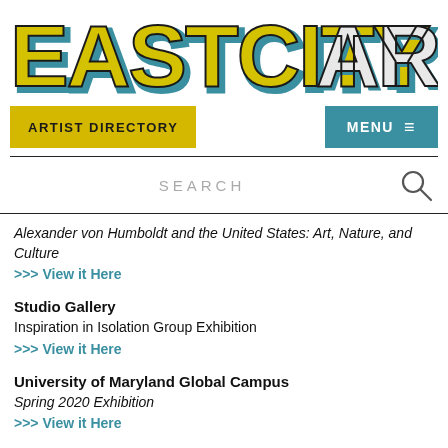[Figure (logo): EastCityArt logo in large stylized block letters, yellow with teal shadow effect, 'ART' in lighter gray/white tones]
ARTIST DIRECTORY | MENU
SEARCH
Alexander von Humboldt and the United States: Art, Nature, and Culture
>>> View it Here
Studio Gallery
Inspiration in Isolation Group Exhibition
>>> View it Here
University of Maryland Global Campus
Spring 2020 Exhibition
>>> View it Here